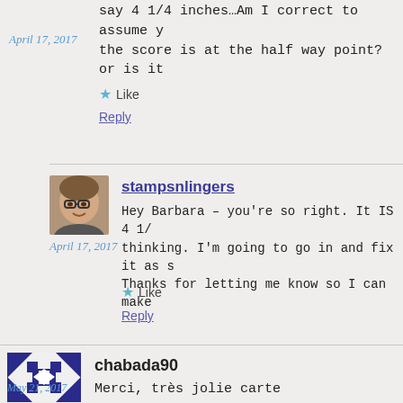say 4 1/4 inches…Am I correct to assume the score is at the half way point? or is it
April 17, 2017
Like
Reply
[Figure (photo): Avatar photo of stampsnlingers user, woman with glasses]
April 17, 2017
stampsnlingers
Hey Barbara – you're so right. It IS 4 1/ thinking. I'm going to go in and fix it as s Thanks for letting me know so I can make
Like
Reply
[Figure (illustration): Avatar icon for chabada90 user, blue and white geometric pattern]
chabada90
Merci, très jolie carte
Like
May 21, 2017